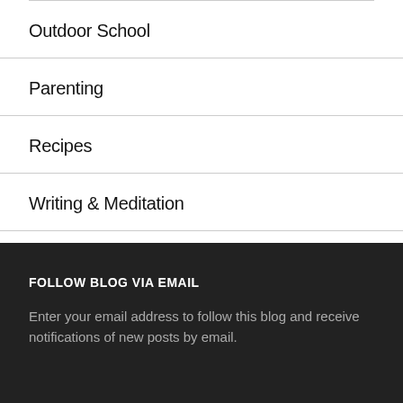Outdoor School
Parenting
Recipes
Writing & Meditation
FOLLOW BLOG VIA EMAIL
Enter your email address to follow this blog and receive notifications of new posts by email.